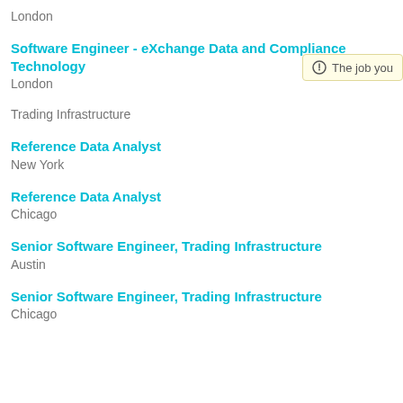London
Software Engineer - eXchange Data and Compliance Technology
London
Trading Infrastructure
Reference Data Analyst
New York
Reference Data Analyst
Chicago
Senior Software Engineer, Trading Infrastructure
Austin
Senior Software Engineer, Trading Infrastructure
Chicago